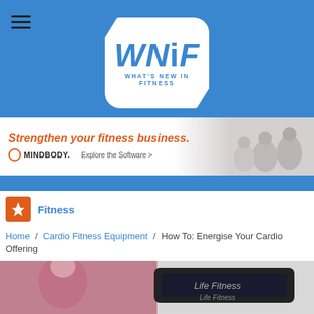[Figure (logo): WNiF - What's New In Fitness logo on blue background with hamburger menu icon]
[Figure (photo): MindBody advertisement banner: 'Strengthen your fitness business.' with people exercising in background]
[Figure (infographic): Orange lightning bolt icon with Fitness category label]
Home / Cardio Fitness Equipment / How To: Energise Your Cardio Offering
[Figure (photo): Partial photo of person in pink workout gear next to Life Fitness cardio equipment]